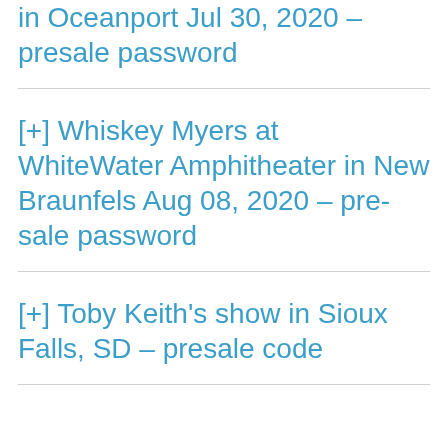[+] in Oceanport Jul 30, 2020 – presale password
[+] Whiskey Myers at WhiteWater Amphitheater in New Braunfels Aug 08, 2020 – pre-sale password
[+] Toby Keith's show in Sioux Falls, SD – presale code